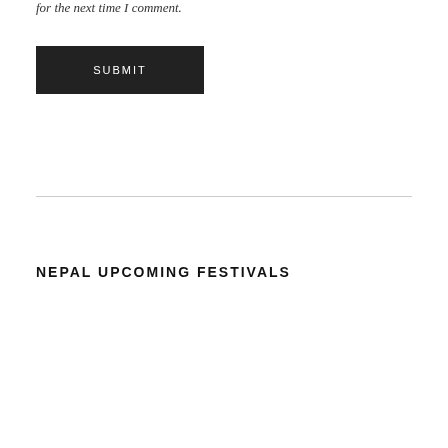for the next time I comment.
[Figure (other): Dark rectangular SUBMIT button with white uppercase text]
NEPAL UPCOMING FESTIVALS